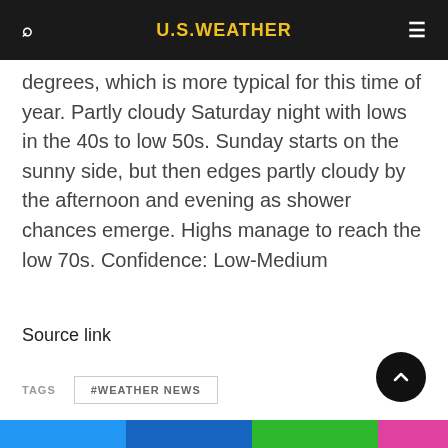U.S.WEATHER
degrees, which is more typical for this time of year. Partly cloudy Saturday night with lows in the 40s to low 50s. Sunday starts on the sunny side, but then edges partly cloudy by the afternoon and evening as shower chances emerge. Highs manage to reach the low 70s. Confidence: Low-Medium
Source link
TAGS  #WEATHER NEWS